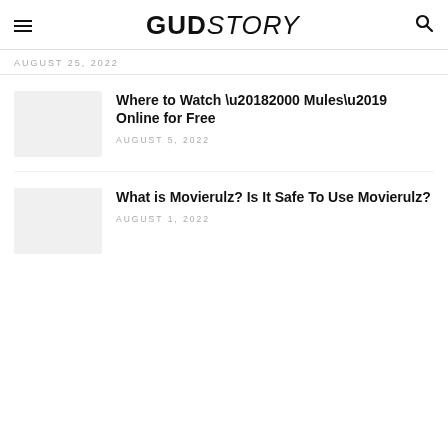GUDSTORY
AUGUST 25, 2022
Where to Watch ‘2000 Mules’ Online for Free
AUGUST 5, 2022
What is Movierulz? Is It Safe To Use Movierulz?
AUGUST 1, 2022